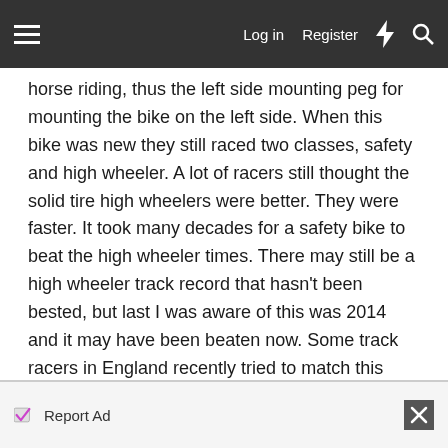Log in   Register
horse riding, thus the left side mounting peg for mounting the bike on the left side. When this bike was new they still raced two classes, safety and high wheeler. A lot of racers still thought the solid tire high wheelers were better. They were faster. It took many decades for a safety bike to beat the high wheeler times. There may still be a high wheeler track record that hasn't been bested, but last I was aware of this was 2014 and it may have been beaten now. Some track racers in England recently tried to match this record using the same high wheeler technology. They didn't't come close. On one of my 1900 bikes the riding position feels like your in front of the pedals, sort of like pushing more backwards than down. The second photo kind of illustrates this. It's amazing how far they rode with this technology. It's not a real enjoyable ride, but they didn't know any better.
Report Ad